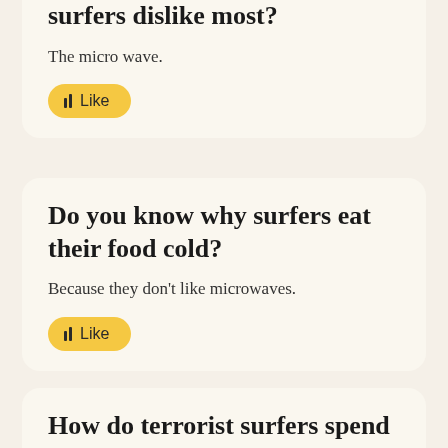surfers dislike most?
The micro wave.
[Figure (other): Yellow 'Like' button with bar chart icon]
Do you know why surfers eat their food cold?
Because they don't like microwaves.
[Figure (other): Yellow 'Like' button with bar chart icon]
How do terrorist surfers spend